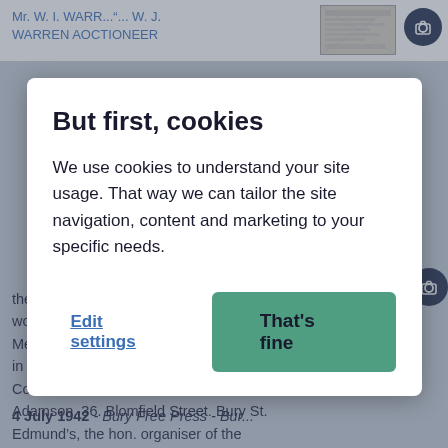Mr. W. I. WARR..."... W. J. WARREN AOCTIONEER
But first, cookies
We use cookies to understand your site usage. That way we can tailor the site navigation, content and marketing to your specific needs.
Edit settings
That's fine
the Comforts Service. All recognise the wonderful work being done by the Merchant Navy and have no hesitation in emphasising the claims of fue ld'JL Comforts Service of which Mr G. K Adamson, 36. Blomfield Street. Bury St. Edmund's, the hon. organiser of the local dist ..."
4 July 1942 - Bury Free Press - Bur...